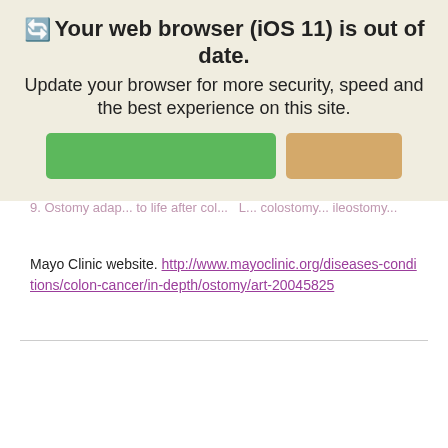[Figure (screenshot): Browser update notification overlay for iOS 11 showing 'Your web browser (iOS 11) is out of date. Update your browser for more security, speed and the best experience on this site.' with a green Update button and a tan/beige Ignore button.]
Mayo Clinic website. http://www.mayoclinic.org/diseases-conditions/colon-cancer/in-depth/ostomy/art-20045825